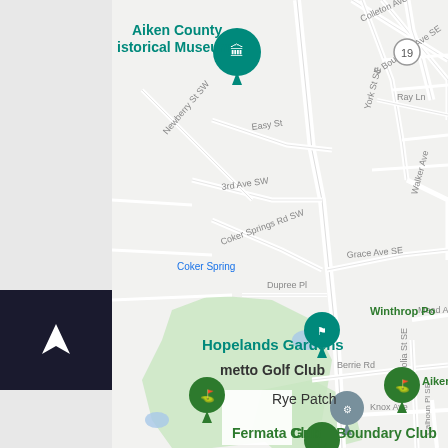[Figure (map): Google Maps view of Aiken, SC area showing Aiken County Historical Museum, Hopelands Gardens, Rye Patch, Green Boundary Club, Fermata Club, Palmetto Golf Club, and surrounding streets including Colleton Ave SE, S Boundary Ave SE, York St SE, Grace Ave SE, Berrie Rd, Knox Ave, Magnolia St SE, Coker Springs Rd SW, Easy St, 3rd Ave SW, Newberry St SW, Dupree Pl, Walker Ave, Ray Ln, Mead Ave, Calhoun Pl SE. Route 19 marker visible.]